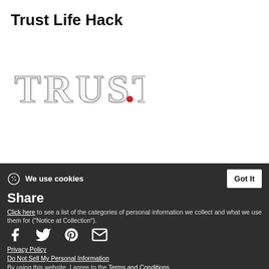Trust Life Hack
[Figure (illustration): Decorative styled text reading TRUST. with striped/outlined serif letters and a red period]
Tags
Lo
Life Hack
optimism
Trust
We use cookies   Got It
Share
Click here to see a list of the categories of personal information we collect and what we use them for ("Notice at Collection").
Privacy Policy
Do Not Sell My Personal Information
By using this website, I agree to the Terms and Conditions